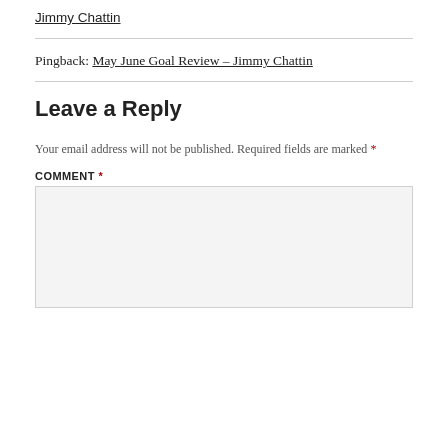Jimmy Chattin
Pingback: May June Goal Review – Jimmy Chattin
Leave a Reply
Your email address will not be published. Required fields are marked *
COMMENT *